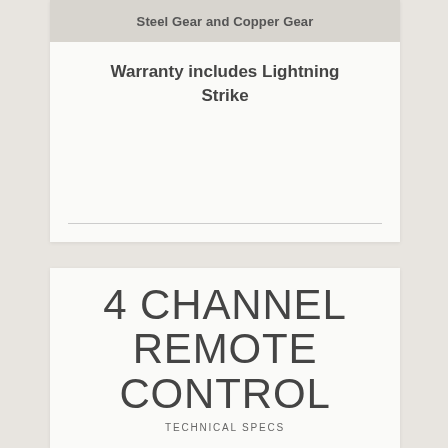Steel Gear and Copper Gear
Warranty includes Lightning Strike
4 CHANNEL REMOTE CONTROL
TECHNICAL SPECS